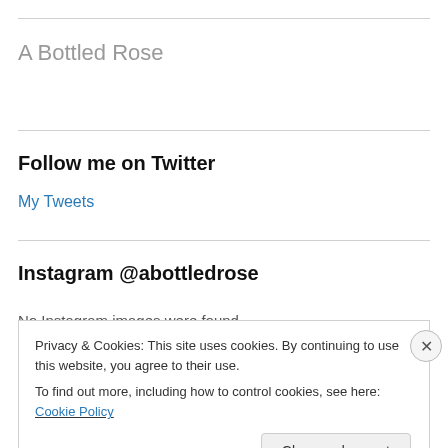A Bottled Rose
Follow me on Twitter
My Tweets
Instagram @abottledrose
Privacy & Cookies: This site uses cookies. By continuing to use this website, you agree to their use.
To find out more, including how to control cookies, see here: Cookie Policy
Close and accept